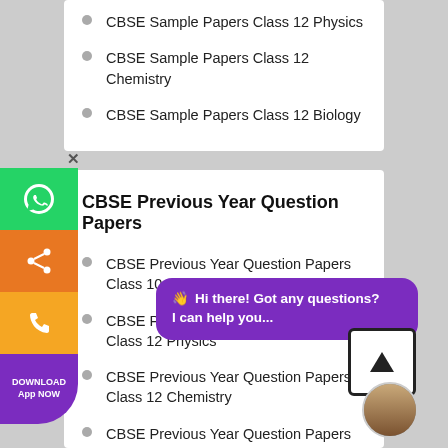CBSE Sample Papers Class 12 Physics
CBSE Sample Papers Class 12 Chemistry
CBSE Sample Papers Class 12 Biology
CBSE Previous Year Question Papers
CBSE Previous Year Question Papers Class 10 Science
CBSE Previous Year Question Papers Class 12 Physics
CBSE Previous Year Question Papers Class 12 Chemistry
CBSE Previous Year Question Papers Class 12 Biology